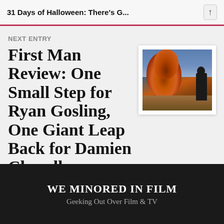31 Days of Halloween: There's G...
NEXT ENTRY
First Man Review: One Small Step for Ryan Gosling, One Giant Leap Back for Damien Chazelle
[Figure (photo): A person in dark clothing/gear standing in a field with a large orange-brown explosion/fireball rising behind them against a blue sky.]
WE MINORED IN FILM
Geeking Out Over Film & TV